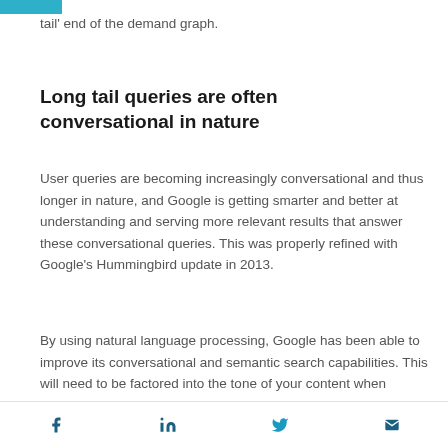tail' end of the demand graph.
Long tail queries are often conversational in nature
User queries are becoming increasingly conversational and thus longer in nature, and Google is getting smarter and better at understanding and serving more relevant results that answer these conversational queries. This was properly refined with Google's Hummingbird update in 2013.
By using natural language processing, Google has been able to improve its conversational and semantic search capabilities. This will need to be factored into the tone of your content when
Social share icons: Facebook, LinkedIn, Twitter, Email